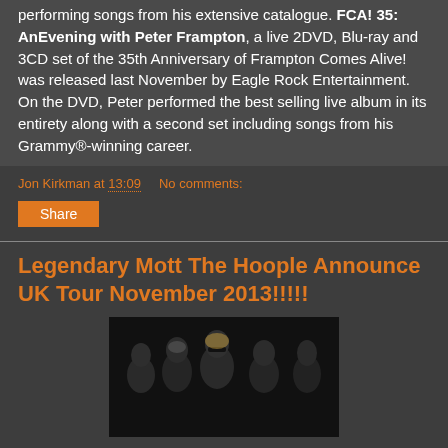performing songs from his extensive catalogue. FCA! 35: AnEvening with Peter Frampton, a live 2DVD, Blu-ray and 3CD set of the 35th Anniversary of Frampton Comes Alive! was released last November by Eagle Rock Entertainment. On the DVD, Peter performed the best selling live album in its entirety along with a second set including songs from his Grammy®-winning career.
Jon Kirkman at 13:09   No comments:
Share
Legendary Mott The Hoople Announce UK Tour November 2013!!!!!
[Figure (photo): Band photo of Mott The Hoople, five men posing together against a dark background]